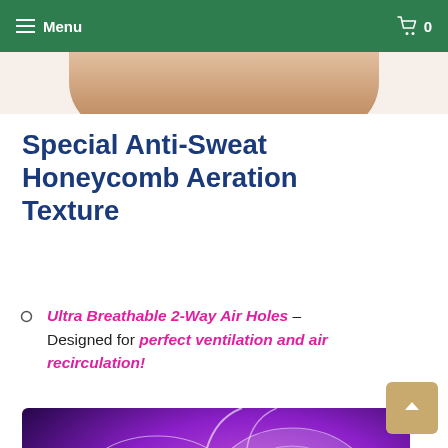Menu  0
[Figure (photo): Partial product photo showing skin-toned bra/garment, cropped at top]
Special Anti-Sweat Honeycomb Aeration Texture
Ultra Breathable 2-Way Air Holes — Designed for perfect ventilation and air recirculation!
[Figure (illustration): 3D wireframe/mesh illustration of a sports bra on a purple/violet gradient background showing honeycomb aeration texture structure]